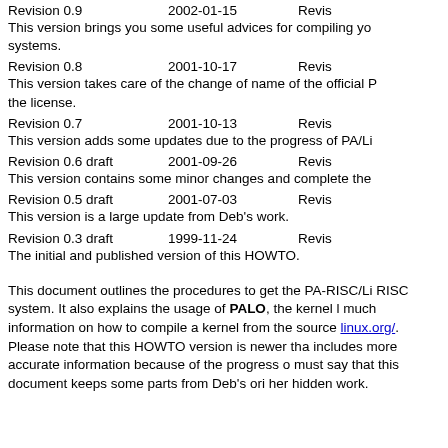Revision 0.9    2002-01-15    Revis
This version brings you some useful advices for compiling yo systems.
Revision 0.8    2001-10-17    Revis
This version takes care of the change of name of the official P the license.
Revision 0.7    2001-10-13    Revis
This version adds some updates due to the progress of PA/Li
Revision 0.6 draft    2001-09-26    Revis
This version contains some minor changes and complete the
Revision 0.5 draft    2001-07-03    Revis
This version is a large update from Deb's work.
Revision 0.3 draft    1999-11-24    Revis
The initial and published version of this HOWTO.
This document outlines the procedures to get the PA-RISC/Li RISC system. It also explains the usage of PALO, the kernel l much information on how to compile a kernel from the source linux.org/. Please note that this HOWTO version is newer tha includes more accurate information because of the progress o must say that this document keeps some parts from Deb's ori her hidden work.